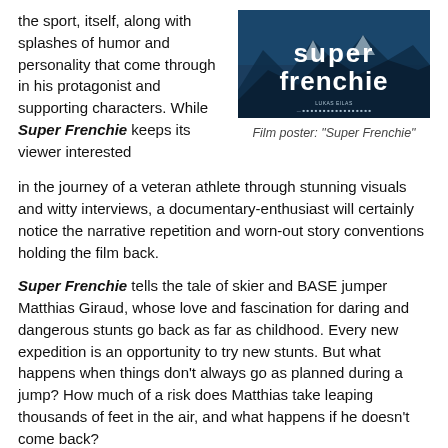the sport, itself, along with splashes of humor and personality that come through in his protagonist and supporting characters. While Super Frenchie keeps its viewer interested in the journey of a veteran athlete through stunning visuals and witty interviews, a documentary-enthusiast will certainly notice the narrative repetition and worn-out story conventions holding the film back.
[Figure (photo): Film poster for 'Super Frenchie' showing bold white text on a dark blue/teal background with mountain imagery]
Film poster: "Super Frenchie"
Super Frenchie tells the tale of skier and BASE jumper Matthias Giraud, whose love and fascination for daring and dangerous stunts go back as far as childhood. Every new expedition is an opportunity to try new stunts. But what happens when things don't always go as planned during a jump? How much of a risk does Matthias take leaping thousands of feet in the air, and what happens if he doesn't come back?